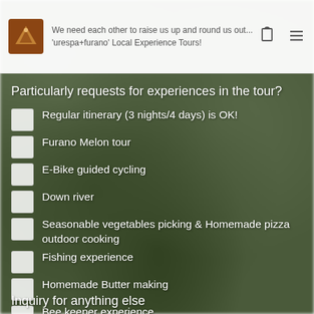We need each other to raise us up and round us out... 'urespa+furano' Local Experience Tours!
Particularly requests for experiences in the tour?
Regular itinerary (3 nights/4 days) is OK!
Furano Melon tour
E-Bike guided cycling
Down river
Seasonable vegetables picking & Homemade pizza outdoor cooking
Fishing experience
Homemade Butter making
Bee keeper experience
request 2 nights/3 days itinerary
Beeswax & Candle making
Other
Inquiry for anything else